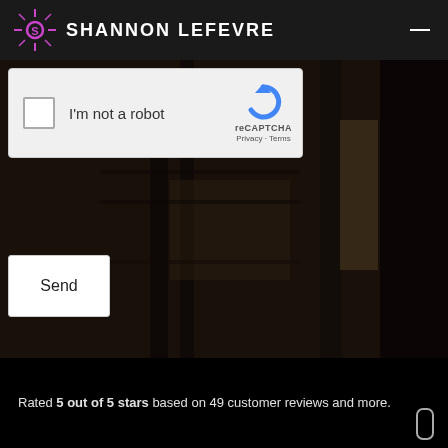[Figure (logo): Shannon Lefevre brand logo with stylized sun/star icon in magenta/purple and white text SHANNON LEFEVRE on dark header bar]
[Figure (screenshot): reCAPTCHA widget with checkbox 'I'm not a robot' and reCAPTCHA logo, Privacy and Terms links, overlaid on a dark industrial background photo]
[Figure (photo): Background photo of dark industrial or outdoor scene with structures, partially obscured]
[Figure (screenshot): Send button (white rectangle) overlaid on dark background photo]
Rated 5 out of 5 stars based on 49 customer reviews and more.